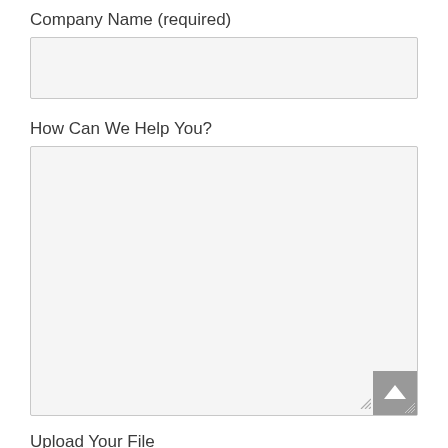Company Name (required)
[Figure (other): Empty text input field for Company Name]
How Can We Help You?
[Figure (other): Large empty textarea for message input with scroll button and resize handle]
Upload Your File